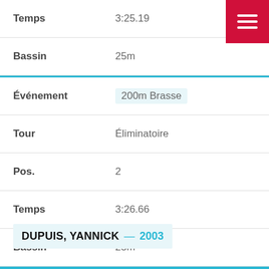| Label | Value |
| --- | --- |
| Temps | 3:25.19 |
| Bassin | 25m |
| Événement | 200m Brasse |
| Tour | Éliminatoire |
| Pos. | 2 |
| Temps | 3:26.66 |
| Bassin | 25m |
DUPUIS, YANNICK — 2003